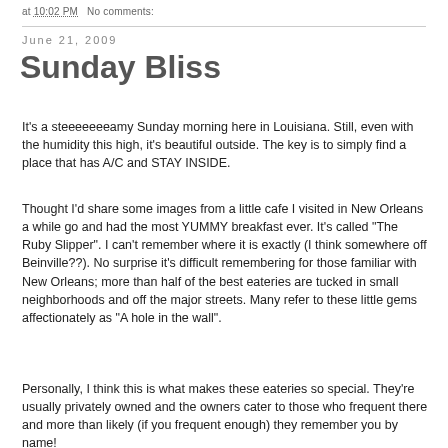at 10:02 PM   No comments:
Sunday Bliss
June 21, 2009
It's a steeeeeeeamy Sunday morning here in Louisiana. Still, even with the humidity this high, it's beautiful outside. The key is to simply find a place that has A/C and STAY INSIDE.
Thought I'd share some images from a little cafe I visited in New Orleans a while go and had the most YUMMY breakfast ever. It's called "The Ruby Slipper". I can't remember where it is exactly (I think somewhere off Beinville??). No surprise it's difficult remembering for those familiar with New Orleans; more than half of the best eateries are tucked in small neighborhoods and off the major streets. Many refer to these little gems affectionately as "A hole in the wall".
Personally, I think this is what makes these eateries so special. They're usually privately owned and the owners cater to those who frequent there and more than likely (if you frequent enough) they remember you by name!